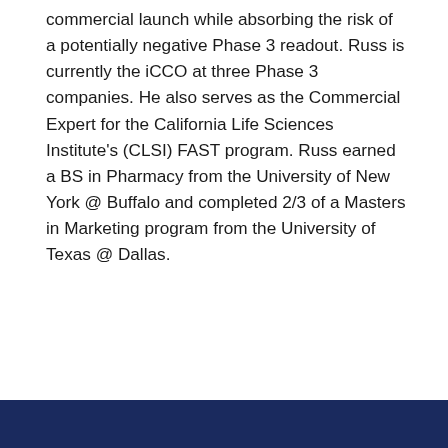commercial launch while absorbing the risk of a potentially negative Phase 3 readout. Russ is currently the iCCO at three Phase 3 companies. He also serves as the Commercial Expert for the California Life Sciences Institute's (CLSI) FAST program. Russ earned a BS in Pharmacy from the University of New York @ Buffalo and completed 2/3 of a Masters in Marketing program from the University of Texas @ Dallas.